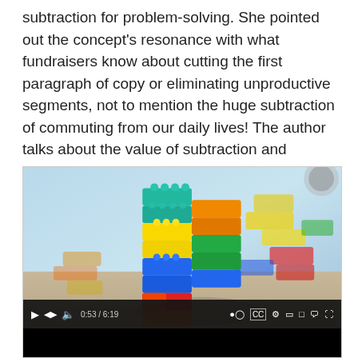subtraction for problem-solving. She pointed out the concept's resonance with what fundraisers know about cutting the first paragraph of copy or eliminating unproductive segments, not to mention the huge subtraction of commuting from our daily lives! The author talks about the value of subtraction and embeds a helpful video on why it can be a challenge to think this way.
[Figure (screenshot): Embedded video player showing colorful LEGO bricks stacked in an L-shaped or arch formation on a table, with more LEGO bricks blurred in the background. The video has a playback controls bar at the bottom showing play, skip, volume, time (0:53/6:19), and other controls.]